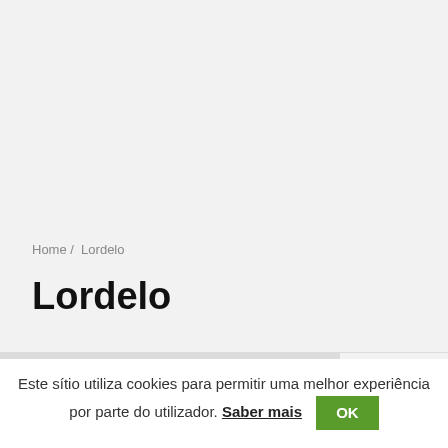Home / Lordelo
Lordelo
Este sítio utiliza cookies para permitir uma melhor experiência por parte do utilizador. Saber mais OK